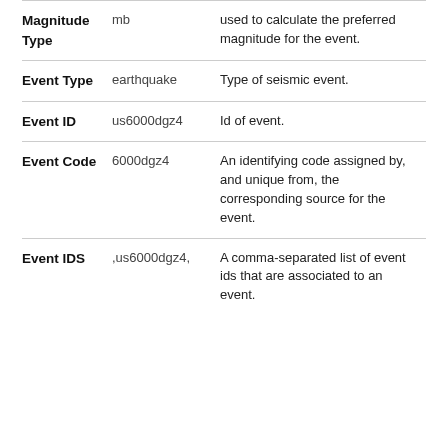| Field | Value | Description |
| --- | --- | --- |
| Magnitude Type | mb | used to calculate the preferred magnitude for the event. |
| Event Type | earthquake | Type of seismic event. |
| Event ID | us6000dgz4 | Id of event. |
| Event Code | 6000dgz4 | An identifying code assigned by, and unique from, the corresponding source for the event. |
| Event IDS | ,us6000dgz4, | A comma-separated list of event ids that are associated to an event. |
LEAVE A REPLY